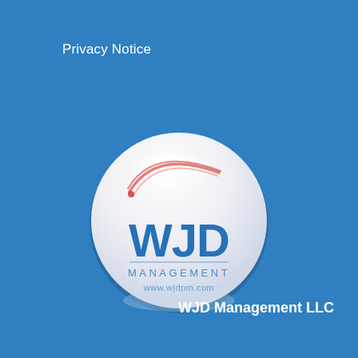Privacy Notice
[Figure (logo): WJD Management circular logo badge with white glossy sphere background, red arc swoosh at top, 'WJD' in large blue bold letters, 'MANAGEMENT' in smaller blue spaced letters, and 'www.wjdpm.com' below]
WJD Management LLC